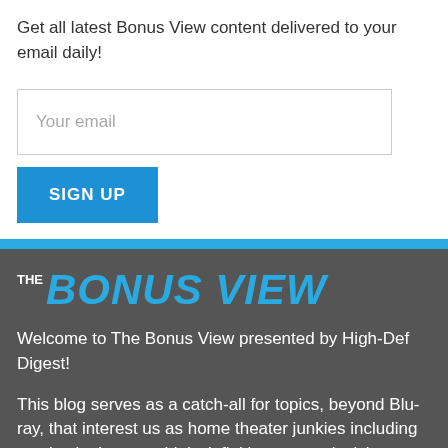Get all latest Bonus View content delivered to your email daily!
Your email
SIGN UP
[Figure (logo): The Bonus View logo — 'THE' in small white text above large bold italic blue text reading 'BONUS VIEW']
Welcome to The Bonus View presented by High-Def Digest!
This blog serves as a catch-all for topics, beyond Blu-ray, that interest us as home theater junkies including movies in theaters, high-definition gear, television shows, video...